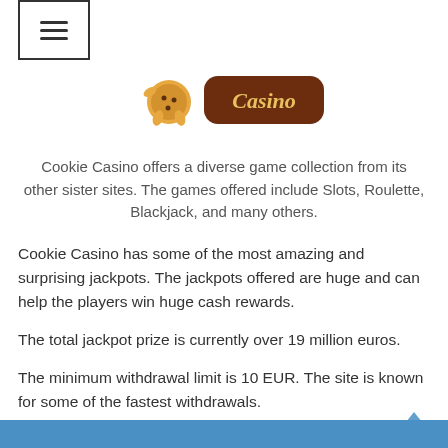[Figure (logo): Cookie Casino logo with cartoon cookie character and Casino text on brown background]
Cookie Casino offers a diverse game collection from its other sister sites. The games offered include Slots, Roulette, Blackjack, and many others.
Cookie Casino has some of the most amazing and surprising jackpots. The jackpots offered are huge and can help the players win huge cash rewards.
The total jackpot prize is currently over 19 million euros.
The minimum withdrawal limit is 10 EUR. The site is known for some of the fastest withdrawals.